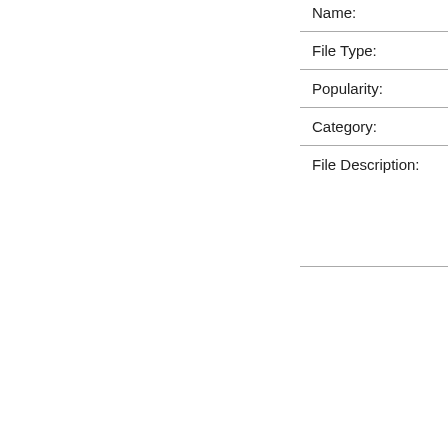| Field | Value |
| --- | --- |
| Name: |  |
| File Type: |  |
| Popularity: |  |
| Category: |  |
| File Description: |  |
|  |  |